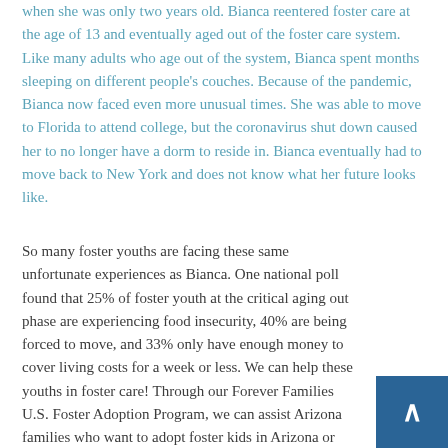when she was only two years old. Bianca reentered foster care at the age of 13 and eventually aged out of the foster care system. Like many adults who age out of the system, Bianca spent months sleeping on different people's couches. Because of the pandemic, Bianca now faced even more unusual times. She was able to move to Florida to attend college, but the coronavirus shut down caused her to no longer have a dorm to reside in. Bianca eventually had to move back to New York and does not know what her future looks like.
So many foster youths are facing these same unfortunate experiences as Bianca. One national poll found that 25% of foster youth at the critical aging out phase are experiencing food insecurity, 40% are being forced to move, and 33% only have enough money to cover living costs for a week or less. We can help these youths in foster care! Through our Forever Families U.S. Foster Adoption Program, we can assist Arizona families who want to adopt foster kids in Arizona or around the U.S. Building Arizona Families encourages any family wanting to grow to consider blessing a kid's life forever and